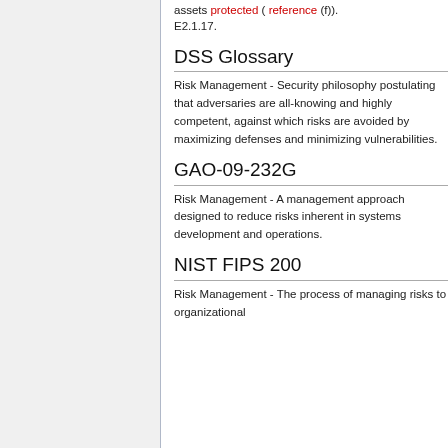assets protected ( reference (f)). E2.1.17.
DSS Glossary
Risk Management - Security philosophy postulating that adversaries are all-knowing and highly competent, against which risks are avoided by maximizing defenses and minimizing vulnerabilities.
GAO-09-232G
Risk Management - A management approach designed to reduce risks inherent in systems development and operations.
NIST FIPS 200
Risk Management - The process of managing risks to organizational